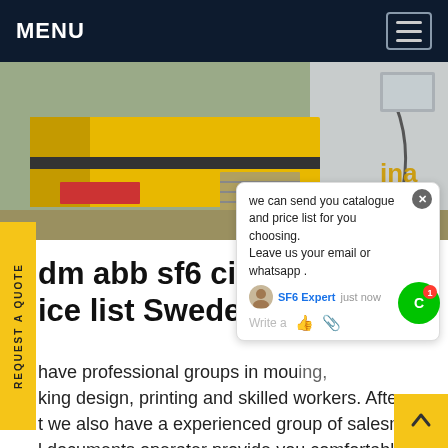MENU
[Figure (photo): Outdoor industrial scene showing a yellow truck or heavy equipment with stairs/ramps, cables, and what appears to be a factory or industrial building background. Partial text 'ina' visible on right side.]
dm abb sf6 circuit ice list Sweden
we can send you catalogue and price list for you choosing. Leave us your email or whatsapp .
have professional groups in mou ing, king design, printing and skilled workers. After t we also have a experienced group of salesman l documents operater provide you comfortable service in foreign trade. Size of Factory in Square Meters : 80000 sqm. Staff Details : Total Staff:100 Staff:100 Engineers:100 QC Staff:70.Get price